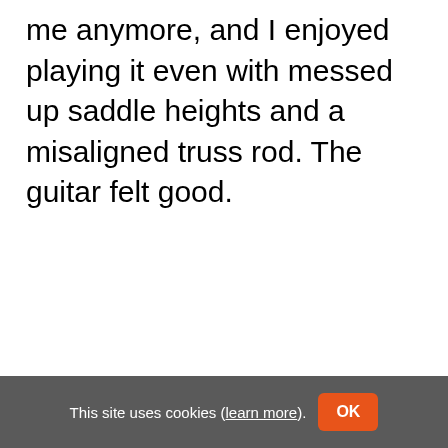me anymore, and I enjoyed playing it even with messed up saddle heights and a misaligned truss rod. The guitar felt good.
This site uses cookies (learn more). OK